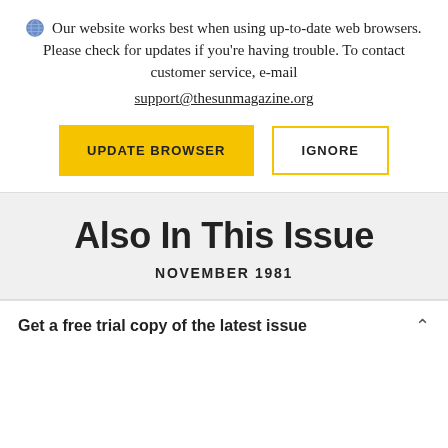Our website works best when using up-to-date web browsers. Please check for updates if you're having trouble. To contact customer service, e-mail support@thesunmagazine.org
UPDATE BROWSER
IGNORE
Also In This Issue
NOVEMBER 1981
Get a free trial copy of the latest issue